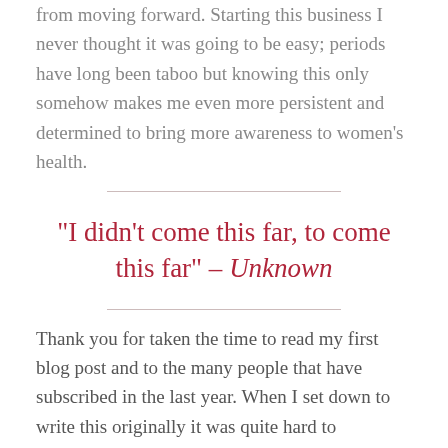from moving forward. Starting this business I never thought it was going to be easy; periods have long been taboo but knowing this only somehow makes me even more persistent and determined to bring more awareness to women's health.
“I didn’t come this far, to come this far” – Unknown
Thank you for taken the time to read my first blog post and to the many people that have subscribed in the last year. When I set down to write this originally it was quite hard to remember every individual